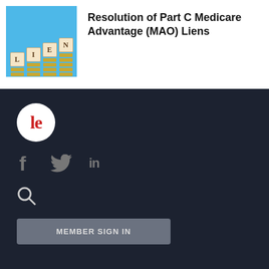[Figure (photo): Scrabble-like tiles spelling LIEN stacked on coins against a blue background]
Resolution of Part C Medicare Advantage (MAO) Liens
[Figure (logo): Legal Examiner logo - white circle with red 'le' letters]
[Figure (infographic): Social media icons: Facebook (f), Twitter (bird), LinkedIn (in)]
[Figure (other): Search magnifying glass icon]
MEMBER SIGN IN
The Legal Examiner